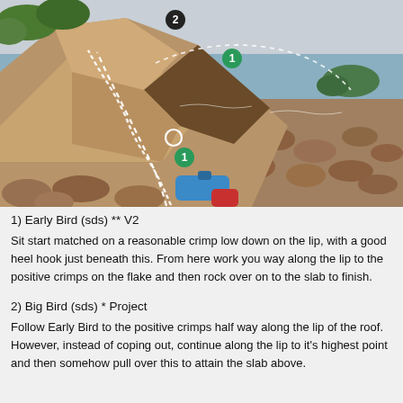[Figure (photo): Outdoor bouldering photo showing a rocky coastal scene. Large sandstone boulders with a roof/slab feature. A dashed white line marks climbing route 1 (Early Bird). A small circle marks a hold midway. Green numbered badges: '1' on the rock face and '2' at the top left. Blue and red climbing chalk bags visible at the base among rocky beach with ocean and green island in background.]
1) Early Bird (sds) ** V2
Sit start matched on a reasonable crimp low down on the lip, with a good heel hook just beneath this. From here work you way along the lip to the positive crimps on the flake and then rock over on to the slab to finish.
2) Big Bird (sds) * Project
Follow Early Bird to the positive crimps half way along the lip of the roof. However, instead of coping out, continue along the lip to it's highest point and then somehow pull over this to attain the slab above.